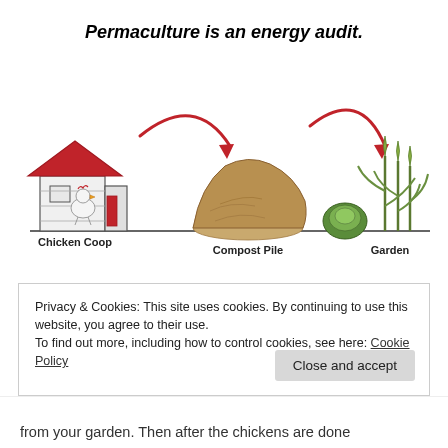Permaculture is an energy audit.
[Figure (illustration): Diagram showing energy flow from Chicken Coop to Compost Pile to Garden, with large red curved arrows pointing from left to right. A chicken coop building with red roof is on the left, a mound of compost in the middle, and garden plants (cabbage and corn) on the right. Labels: Chicken Coop, Compost Pile, Garden.]
Privacy & Cookies: This site uses cookies. By continuing to use this website, you agree to their use.
To find out more, including how to control cookies, see here: Cookie Policy
Close and accept
from your garden. Then after the chickens are done